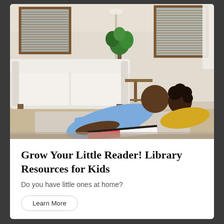[Figure (photo): A man and a young child lying on the floor of a living room reading a book together. The man is wearing a light blue shirt and the child is wearing a yellow t-shirt. There is a white sofa in the background, along with wooden blinds on windows and green plants.]
Grow Your Little Reader! Library Resources for Kids
Do you have little ones at home?